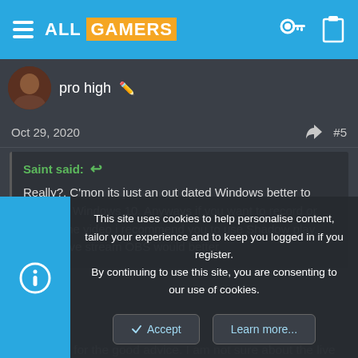ALL GAMERS
pro high
Oct 29, 2020  #5
Saint said:
Really?, C'mon its just an out dated Windows better to move on Windows 10. Anyways if you want to record or stream the video i recommend you to use Shadow play. and for live stream OBS would better
Hy Thanks for the good advice. I am not sure about the live stream since i don't have a good CPU. I will Shadowplay only for record
This site uses cookies to help personalise content, tailor your experience and to keep you logged in if you register.
By continuing to use this site, you are consenting to our use of cookies.